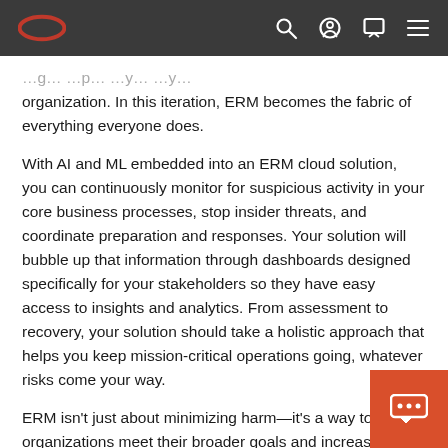Oracle logo navigation bar with search, profile, chat, and menu icons
organization. In this iteration, ERM becomes the fabric of everything everyone does.
With AI and ML embedded into an ERM cloud solution, you can continuously monitor for suspicious activity in your core business processes, stop insider threats, and coordinate preparation and responses. Your solution will bubble up that information through dashboards designed specifically for your stakeholders so they have easy access to insights and analytics. From assessment to recovery, your solution should take a holistic approach that helps you keep mission-critical operations going, whatever risks come your way.
ERM isn't just about minimizing harm—it's a way to help organizations meet their broader goals and increase their chances of success, despite the risks.